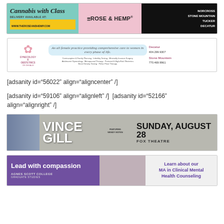[Figure (photo): Cannabis with Class banner ad for The Rose & Hemp, showing teal left section with brand name and website, pink center section with rose logo, and dark right section with delivery locations: Norcross, Stone Mountain, Tucker, Decatur]
[Figure (photo): Gynecology & Obstetrics of DeKalb banner ad with pink flower logo, tagline about all-female practice providing comprehensive care to women in every phase of life, listing services, with contact info for Decatur 404.299.9307 and Stone Mountain 770.469.9961]
[adsanity id="56022" align="aligncenter" /]
[adsanity id="59106" align="alignleft" /]  [adsanity id="52166" align="alignright" /]
[Figure (photo): Vince Gill concert banner ad showing Sunday, August 28 at Fox Theatre, featuring Wendy Moten]
[Figure (photo): Agnes Scott College banner ad for Graduate Studies MA in Clinical Mental Health Counseling with Lead with compassion tagline]